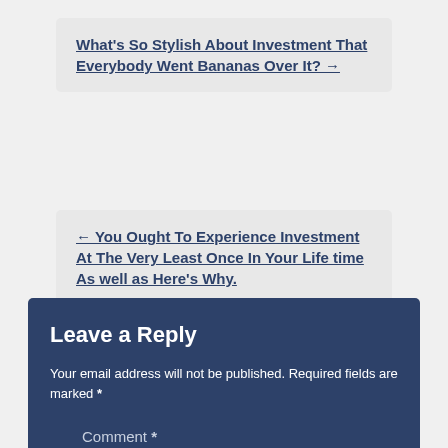What's So Stylish About Investment That Everybody Went Bananas Over It? →
← You Ought To Experience Investment At The Very Least Once In Your Life time As well as Here's Why.
Leave a Reply
Your email address will not be published. Required fields are marked *
Comment *